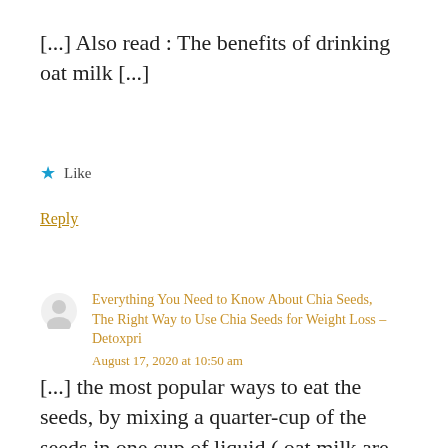[...] Also read : The benefits of drinking oat milk [...]
★ Like
Reply
Everything You Need to Know About Chia Seeds, The Right Way to Use Chia Seeds for Weight Loss – Detoxpri
August 17, 2020 at 10:50 am
[...] the most popular ways to eat the seeds, by mixing a quarter-cup of the seeds in one cup of liquid ( oat milk are popular choices). Once the seeds have gelled up and the mixture is no longer watery, the [...]